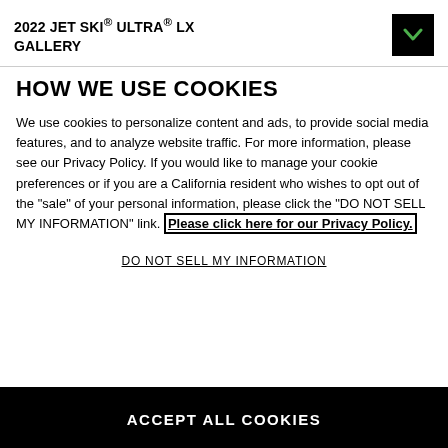2022 JET SKI® ULTRA® LX GALLERY
HOW WE USE COOKIES
We use cookies to personalize content and ads, to provide social media features, and to analyze website traffic. For more information, please see our Privacy Policy. If you would like to manage your cookie preferences or if you are a California resident who wishes to opt out of the "sale" of your personal information, please click the "DO NOT SELL MY INFORMATION" link. Please click here for our Privacy Policy.
DO NOT SELL MY INFORMATION
ACCEPT ALL COOKIES